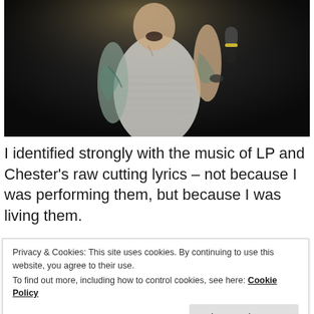[Figure (photo): Concert photo of a tattooed male singer performing on stage, wearing a white sleeveless shirt, holding a microphone, singing passionately against a dark background.]
I identified strongly with the music of LP and Chester's raw cutting lyrics – not because I was performing them, but because I was living them.
Privacy & Cookies: This site uses cookies. By continuing to use this website, you agree to their use.
To find out more, including how to control cookies, see here: Cookie Policy
Close and accept
continuously. In my office, at the gym, in my car. I